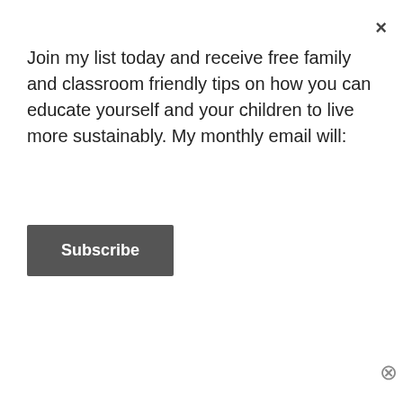Join my list today and receive free family and classroom friendly tips on how you can educate yourself and your children to live more sustainably. My monthly email will:
Subscribe
Chip by Kylie Howarth
24 Nov 2017
In "Book review"
[Figure (photo): Book cover image for Crusts by Danny Parker]
Crusts by Danny Parker
2 Sep 2016
In "Environmental books"
[Figure (photo): Book cover image showing Saida's Violin]
Advertisements
[Figure (screenshot): Tumblr Ad-Free Browsing advertisement banner: $39.99 a year or $4.99 a month]